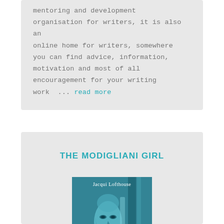mentoring and development organisation for writers, it is also an online home for writers, somewhere you can find advice, information, motivation and most of all encouragement for your writing work ... read more
THE MODIGLIANI GIRL
[Figure (illustration): Book cover of 'The Modigliani Girl' by Jacqui Lofthouse, featuring a Modigliani-style elongated face painted in blue-green tones]